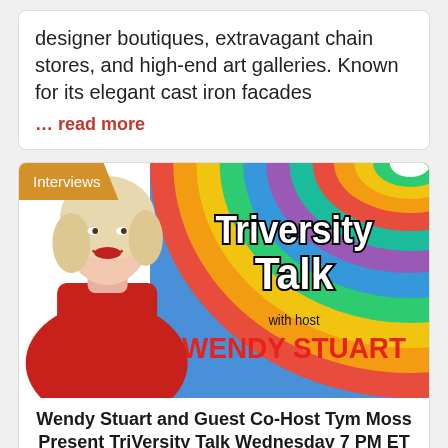designer boutiques, extravagant chain stores, and high-end art galleries. Known for its elegant cast iron facades
… read more
[Figure (photo): Podcast promotional image for Triversity Talk with host Wendy Stuart. Features a blonde woman in a red dress against a colorful rainbow swirl background. Includes 'Interviews' badge in top left corner and text 'with host WENDY STUART'.]
Wendy Stuart and Guest Co-Host Tym Moss Present TriVersity Talk Wednesday 7 PM ET With Tym and...